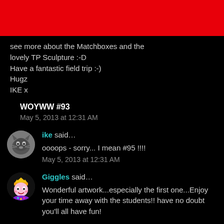[Figure (other): Red banner bar at top of page]
see more about the Matchboxes and the lovely TP Sculpture :-D
Have a fantastic field trip :-)
Hugz
IKE x
WOYWW #93
May 5, 2013 at 12:31 AM
[Figure (photo): Avatar of user ike - cat photo]
ike said...
oooops - sorry... I mean #95 !!!!
May 5, 2013 at 12:31 AM
[Figure (illustration): Avatar of user Giggles - colorful illustrated character with crown]
Giggles said...
Wonderful artwork...especially the first one...Enjoy your time away with the students!! have no doubt you'll all have fun!